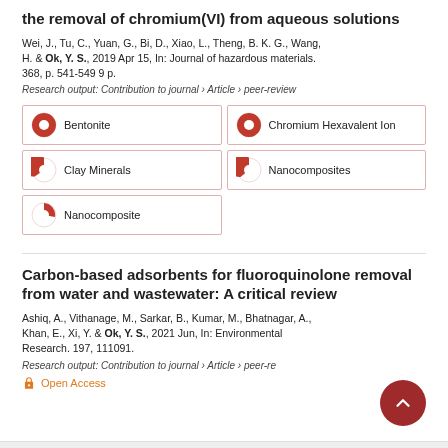the removal of chromium(VI) from aqueous solutions
Wei, J., Tu, C., Yuan, G., Bi, D., Xiao, L., Theng, B. K. G., Wang, H. & Ok, Y. S., 2019 Apr 15, In: Journal of hazardous materials. 368, p. 541-549 9 p.
Research output: Contribution to journal › Article › peer-review
Bentonite
Chromium Hexavalent Ion
Clay Minerals
Nanocomposites
Nanocomposite
Carbon-based adsorbents for fluoroquinolone removal from water and wastewater: A critical review
Ashiq, A., Vithanage, M., Sarkar, B., Kumar, M., Bhatnagar, A., Khan, E., Xi, Y. & Ok, Y. S., 2021 Jun, In: Environmental Research. 197, 111091.
Research output: Contribution to journal › Article › peer-re
Open Access